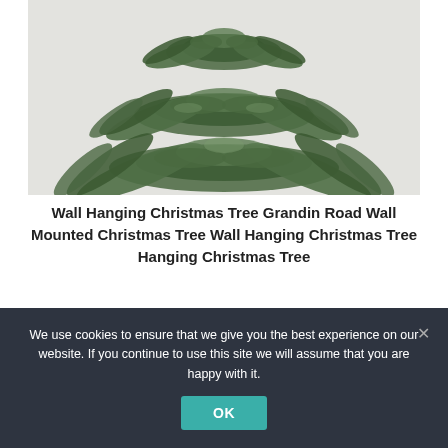[Figure (photo): A wall-mounted Christmas tree decoration made of fern and greenery branches arranged in a triangular tree shape against a white brick wall.]
Wall Hanging Christmas Tree Grandin Road Wall Mounted Christmas Tree Wall Hanging Christmas Tree Hanging Christmas Tree
We use cookies to ensure that we give you the best experience on our website. If you continue to use this site we will assume that you are happy with it.